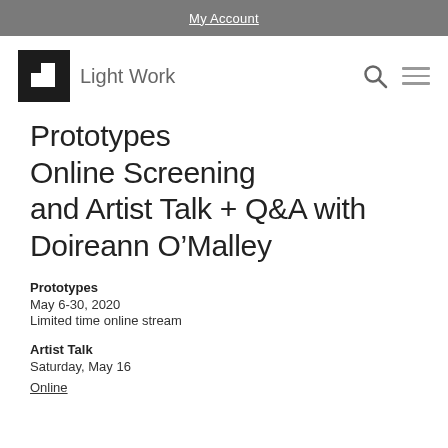My Account
[Figure (logo): Light Work logo: black square icon with a white square cutout, next to text 'Light Work']
Prototypes Online Screening and Artist Talk + Q&A with Doireann O’Malley
Prototypes
May 6-30, 2020
Limited time online stream
Artist Talk
Saturday, May 16
Online